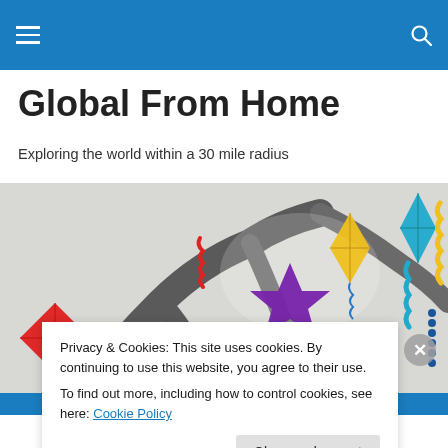Navigation bar with hamburger menu and search icon
Global From Home
Exploring the world within a 30 mile radius
[Figure (photo): Colorful kites and decorations hanging from tree branches — red diamond kite, purple star kite, yellow kite, teal kite, and spiral decorations against a light background]
Privacy & Cookies: This site uses cookies. By continuing to use this website, you agree to their use.
To find out more, including how to control cookies, see here: Cookie Policy
Close and accept